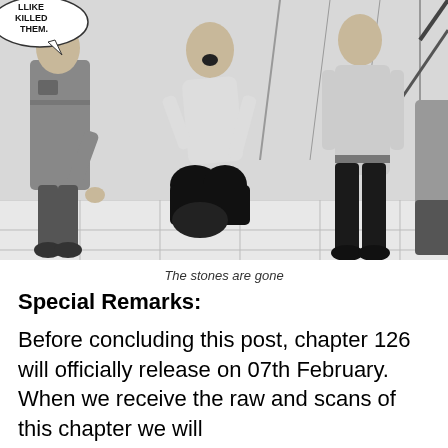[Figure (illustration): Black and white manga/comic panel showing three characters: a uniformed officer on the left with a speech bubble reading 'LLIKE KILLED THEM.', a person kneeling in the center, and another person standing on the right. The scene is set on a tiled floor.]
The stones are gone
Special Remarks:
Before concluding this post, chapter 126 will officially release on 07th February. When we receive the raw and scans of this chapter we will